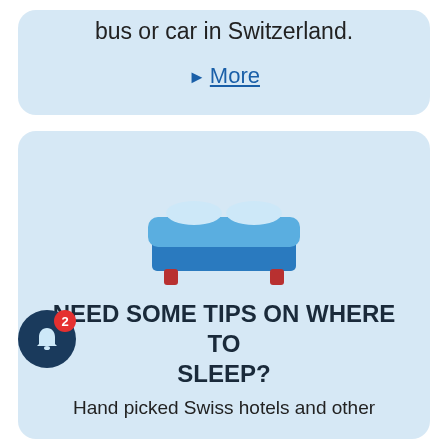bus or car in Switzerland.
▶ More
[Figure (illustration): Bed icon representing accommodation/hotels]
NEED SOME TIPS ON WHERE TO SLEEP?
Hand picked Swiss hotels and other